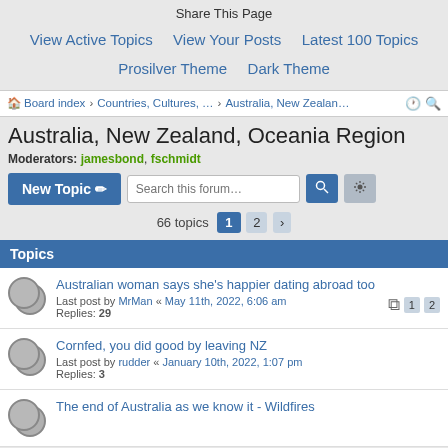Share This Page
View Active Topics   View Your Posts   Latest 100 Topics   Prosilver Theme   Dark Theme
Board index > Countries, Cultures, ... > Australia, New Zealan...
Australia, New Zealand, Oceania Region
Moderators: jamesbond, fschmidt
New Topic   Search this forum...   [search] [settings]
66 topics  1  2  >
Topics
Australian woman says she's happier dating abroad too
Last post by MrMan « May 11th, 2022, 6:06 am
Replies: 29
Cornfed, you did good by leaving NZ
Last post by rudder « January 10th, 2022, 1:07 pm
Replies: 3
The end of Australia as we know it - Wildfires